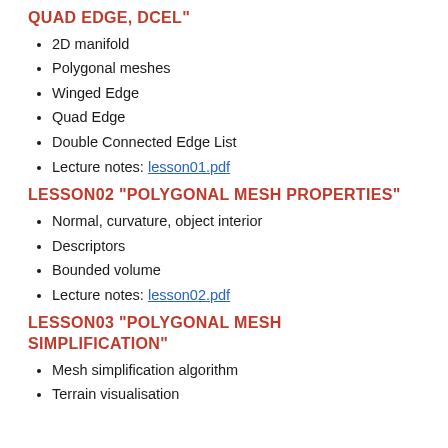QUAD EDGE, DCEL"
2D manifold
Polygonal meshes
Winged Edge
Quad Edge
Double Connected Edge List
Lecture notes: lesson01.pdf
LESSON02 "POLYGONAL MESH PROPERTIES"
Normal, curvature, object interior
Descriptors
Bounded volume
Lecture notes: lesson02.pdf
LESSON03 "POLYGONAL MESH SIMPLIFICATION"
Mesh simplification algorithm
Terrain visualisation